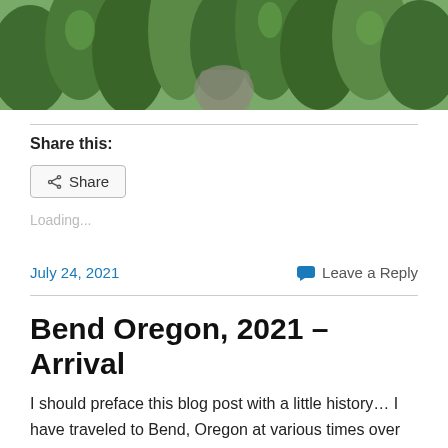[Figure (photo): Aerial or eye-level view of pine/fir trees in a forest, lush green foliage, outdoor nature scene]
Share this:
Share (button)
Loading...
July 24, 2021    Leave a Reply
Bend Oregon, 2021 – Arrival
I should preface this blog post with a little history… I have traveled to Bend, Oregon at various times over the last 20